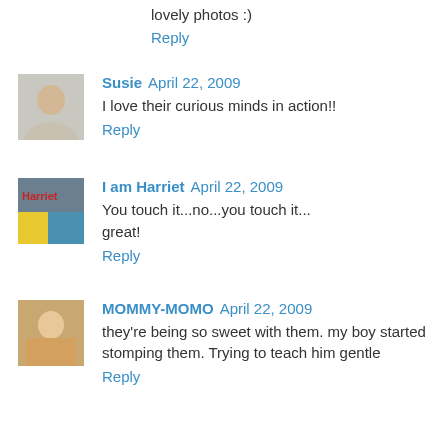lovely photos :)
Reply
Susie  April 22, 2009
I love their curious minds in action!!
Reply
I am Harriet  April 22, 2009
You touch it...no...you touch it... great!
Reply
MOMMY-MOMO  April 22, 2009
they're being so sweet with them. my boy started stomping them. Trying to teach him gentle
Reply